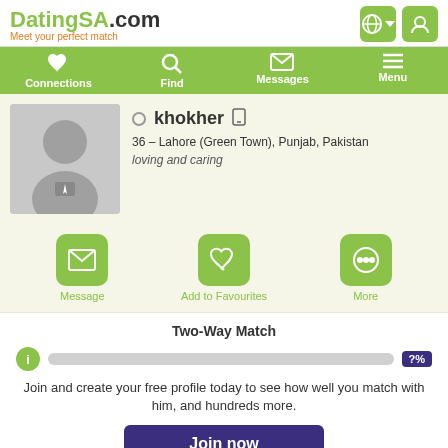DatingSA.com — Meet your perfect match
Connections | Find | Messages | Menu
khokher — 36 – Lahore (Green Town), Punjab, Pakistan — loving and caring
[Figure (illustration): Default male avatar placeholder photo]
Message | Add to Favourites | More
Two-Way Match
Join and create your free profile today to see how well you match with him, and hundreds more.
Join now
Online: More than 6 months ago